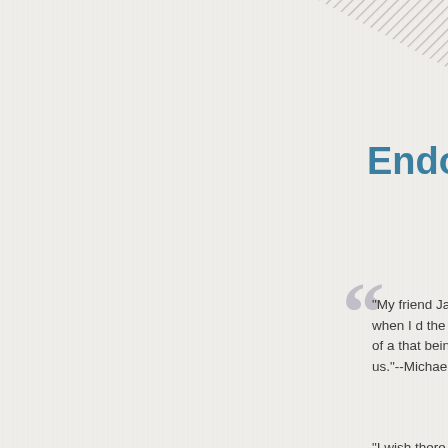[Figure (other): Diagonal hatching pattern in top-right corner, decorative element]
Endorse
"My friend Ja even when I d the midst of a that being Re us."--Michael
"I wish there But, hey, I'm Calvinism for philosophy, F
"Letters to a 'young, restle journey with